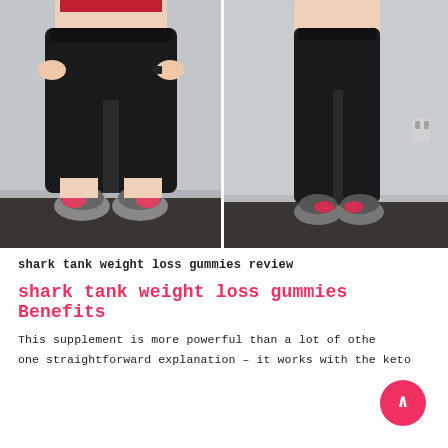[Figure (photo): Before and after weight loss comparison photos. Left photo shows a heavier woman from the waist down wearing black capri leggings and pink/grey sneakers. Right photo shows a slimmer woman from the waist down wearing black full-length leggings and grey/pink sneakers. Both against a light grey wall.]
shark tank weight loss gummies review
shark tank weight loss gummies Benefits
This supplement is more powerful than a lot of othe one straightforward explanation – it works with the keto